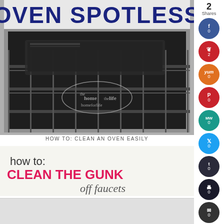[Figure (photo): Photo of an oven with text overlay reading OVEN SPOTLESS in dark blue letters, showing oven racks and interior, with 'the home life' watermark]
HOW TO: CLEAN AN OVEN EASILY
[Figure (photo): Graphic image with text 'how to: CLEAN THE GUNK off faucets' in white and pink letters on light background]
[Figure (photo): Partial third image at the bottom of the page]
2 Shares
0
2
0
0
0
0
0
0
0